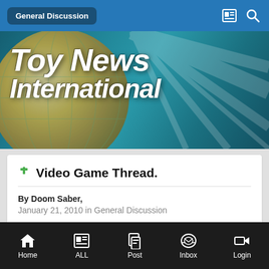General Discussion
[Figure (illustration): Toy News International banner with globe and italic bold white text on teal/blue gradient background]
Video Game Thread.
By Doom Saber,
January 21, 2010 in General Discussion
Reply to this topic
Home   ALL   Post   Inbox   Login